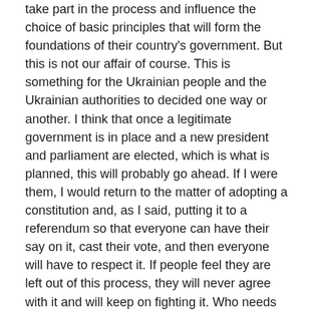take part in the process and influence the choice of basic principles that will form the foundations of their country's government. But this is not our affair of course. This is something for the Ukrainian people and the Ukrainian authorities to decided one way or another. I think that once a legitimate government is in place and a new president and parliament are elected, which is what is planned, this will probably go ahead. If I were them, I would return to the matter of adopting a constitution and, as I said, putting it to a referendum so that everyone can have their say on it, cast their vote, and then everyone will have to respect it. If people feel they are left out of this process, they will never agree with it and will keep on fighting it. Who needs this kind of thing? But as I said, this is all not our affair.
Question: Will Russia recognise the planned presidential election that will take place in Ukraine?
Vladimir Putin: Let's see how it goes. If it is accompanied by the same kind of terror that we are seeing now in Kiev, we